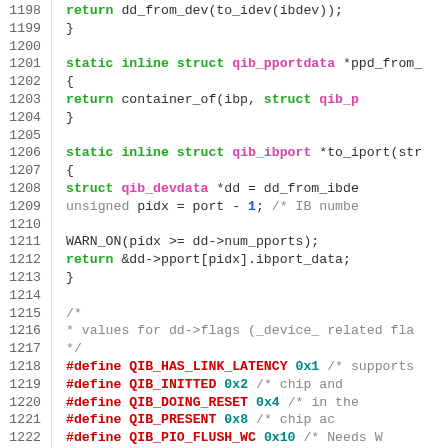[Figure (screenshot): Source code listing lines 1198-1224 of a C file showing inline functions and #define macros for QIB driver code, with syntax highlighting: green for keywords, pink/magenta for struct names, teal for hex values, red for preprocessor directives, grey for comments.]